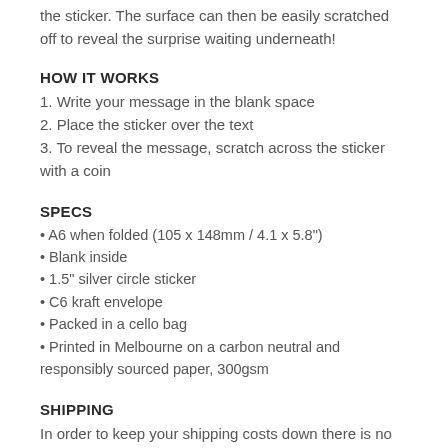the sticker. The surface can then be easily scratched off to reveal the surprise waiting underneath!
HOW IT WORKS
1. Write your message in the blank space
2. Place the sticker over the text
3. To reveal the message, scratch across the sticker with a coin
SPECS
A6 when folded (105 x 148mm / 4.1 x 5.8")
Blank inside
1.5" silver circle sticker
C6 kraft envelope
Packed in a cello bag
Printed in Melbourne on a carbon neutral and responsibly sourced paper, 300gsm
SHIPPING
In order to keep your shipping costs down there is no tracking on standard shipping. If you wish to include tracking, you will need to upgrade